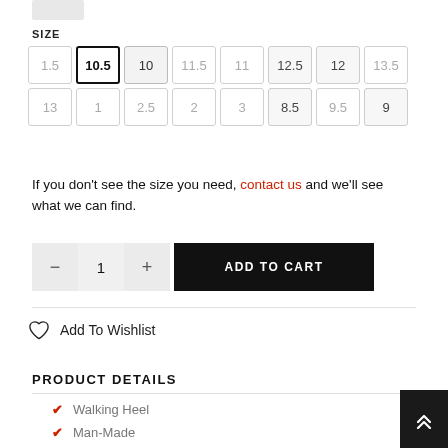[Figure (other): Small grey image placeholder thumbnail at top left]
SIZE
Size selector grid with options: 1.5, 10.5 (selected), 10, 11.5, 11, 12.5, 12, 13.5, 13, 1, 2.5, 2, 3, 8.5, 9.5, 9
If you don't see the size you need, contact us and we'll see what we can find.
Quantity selector: minus, 1, plus. ADD TO CART button.
Add To Wishlist
PRODUCT DETAILS
Walking Heel
Man-Made
PVC Sole